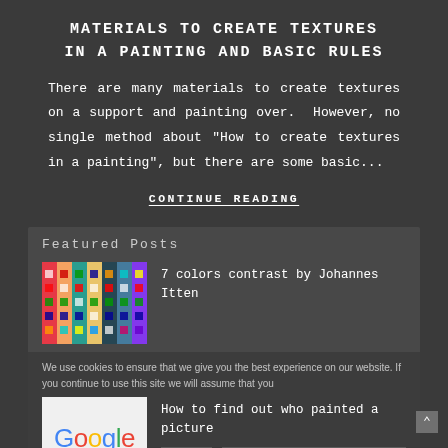MATERIALS TO CREATE TEXTURES IN A PAINTING AND BASIC RULES
There are many materials to create textures on a support and painting over.  However, no single method about "How to create textures in a painting", but there are some basic...
CONTINUE READING
Featured Posts
7 colors contrast by Johannes Itten
How to find out who painted a picture
We use cookies to ensure that we give you the best experience on our website. If you continue to use this site we will assume that you
OK
READ MORE